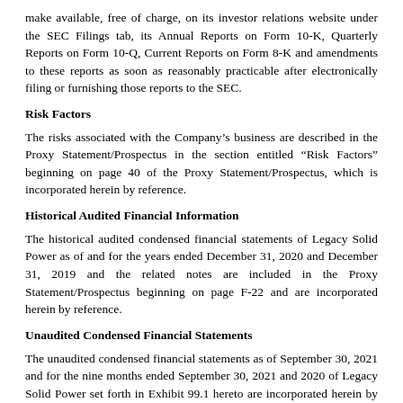make available, free of charge, on its investor relations website under the SEC Filings tab, its Annual Reports on Form 10-K, Quarterly Reports on Form 10-Q, Current Reports on Form 8-K and amendments to these reports as soon as reasonably practicable after electronically filing or furnishing those reports to the SEC.
Risk Factors
The risks associated with the Company's business are described in the Proxy Statement/Prospectus in the section entitled “Risk Factors” beginning on page 40 of the Proxy Statement/Prospectus, which is incorporated herein by reference.
Historical Audited Financial Information
The historical audited condensed financial statements of Legacy Solid Power as of and for the years ended December 31, 2020 and December 31, 2019 and the related notes are included in the Proxy Statement/Prospectus beginning on page F-22 and are incorporated herein by reference.
Unaudited Condensed Financial Statements
The unaudited condensed financial statements as of September 30, 2021 and for the nine months ended September 30, 2021 and 2020 of Legacy Solid Power set forth in Exhibit 99.1 hereto are incorporated herein by reference and have been prepared in accordance with U.S. generally accepted accounting principles and pursuant to the regulations of the SEC. The unaudited financial information reflects, in the opinion of management, all adjustments, consisting of normal